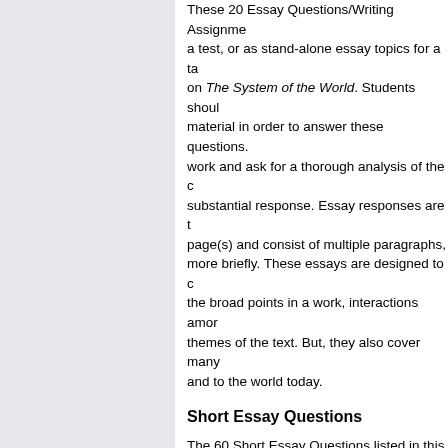These 20 Essay Questions/Writing Assignments may be used as essay questions on a test, or as stand-alone essay topics for a take home or in-class writing assignment on The System of the World. Students should have a full understanding of the material in order to answer these questions. They ask students to analyze and work and ask for a thorough analysis of the characters, plots, themes and a substantial response. Essay responses are typically expected to be one (or more) page(s) and consist of multiple paragraphs, although it is possible to cover the topic more briefly. These essays are designed to cover broad points in a work, interactions among the broad points in a work, interactions among themes of the text. But, they also cover many of the other issues relevant to the work and to the world today.
Short Essay Questions
The 60 Short Essay Questions listed in this section require a one to two sentence answer. They ask students to demonstrate an understanding of The System of the World by describing what they've read, rather than interpreting it. These short essay questions evaluate not only whether students have read the material, but also how well they understand and can apply it. They are more difficult than multiple choice questions, but are shorter than the essay questions.
Multiple Choice Questions
The 180 Multiple Choice Questions in this lesson plan will test a student's basic understanding of The System of the World. Use these questions for quizzes, homework assignments or tests. The questions are broken out into sections, so they focus on specific chapters within The System of the World. This allows you to test and review the book as you proceed through the unit. Typically, there are five (5) questions per chapter, act or section.